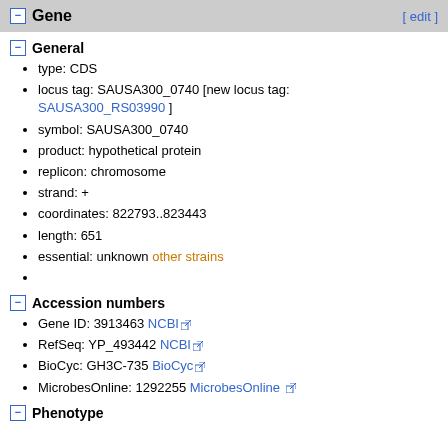Gene  [ edit ]
General
type: CDS
locus tag: SAUSA300_0740 [new locus tag: SAUSA300_RS03990 ]
symbol: SAUSA300_0740
product: hypothetical protein
replicon: chromosome
strand: +
coordinates: 822793..823443
length: 651
essential: unknown other strains
Accession numbers
Gene ID: 3913463 NCBI
RefSeq: YP_493442 NCBI
BioCyc: GH3C-735 BioCyc
MicrobesOnline: 1292255 MicrobesOnline
Phenotype